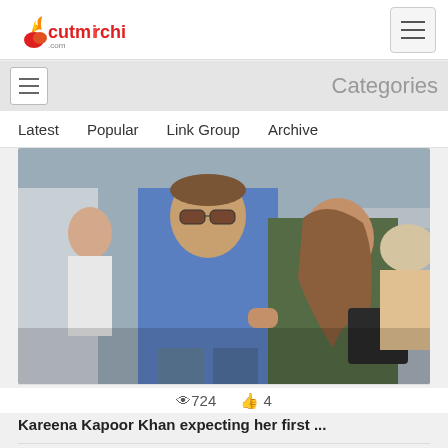cutmirchi
Categories
Latest
Popular
Link Group
Archive
[Figure (photo): Two people walking side by side — a man in a blue shirt and glasses, and a woman in a green top and sunglasses, surrounded by other people]
724  4
Kareena Kapoor Khan expecting her first ...